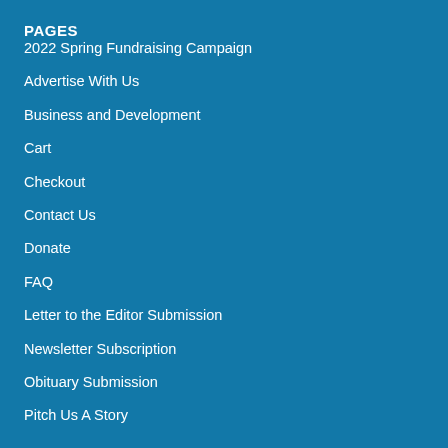PAGES
2022 Spring Fundraising Campaign
Advertise With Us
Business and Development
Cart
Checkout
Contact Us
Donate
FAQ
Letter to the Editor Submission
Newsletter Subscription
Obituary Submission
Pitch Us A Story